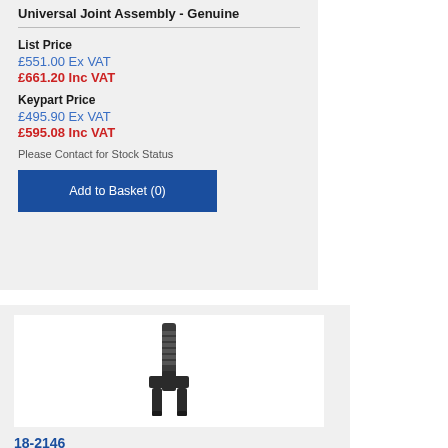Universal Joint Assembly - Genuine
List Price
£551.00 Ex VAT
£661.20 Inc VAT
Keypart Price
£495.90 Ex VAT
£595.08 Inc VAT
Please Contact for Stock Status
Add to Basket (0)
[Figure (photo): Universal joint assembly part photograph showing a mechanical universal joint/driveshaft component]
18-2146